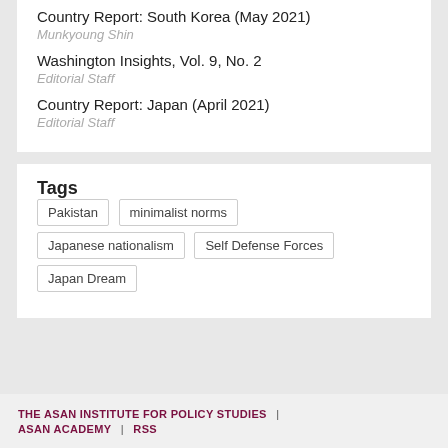Country Report: South Korea (May 2021)
Munkyoung Shin
Washington Insights, Vol. 9, No. 2
Editorial Staff
Country Report: Japan (April 2021)
Editorial Staff
Tags
Pakistan
minimalist norms
Japanese nationalism
Self Defense Forces
Japan Dream
THE ASAN INSTITUTE FOR POLICY STUDIES | ASAN ACADEMY | RSS